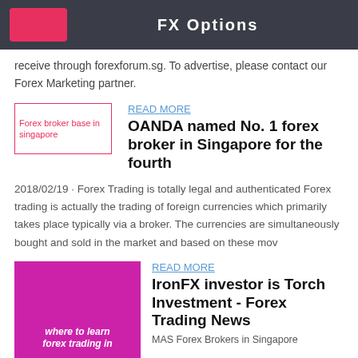FX Options
receive through forexforum.sg. To advertise, please contact our Forex Marketing partner.
[Figure (photo): Thumbnail image placeholder for 'Forex broker base in singapore' article]
READ MORE
OANDA named No. 1 forex broker in Singapore for the fourth
2018/02/19 · Forex Trading is totally legal and authenticated Forex trading is actually the trading of foreign currencies which primarily takes place typically via a broker. The currencies are simultaneously bought and sold in the market and based on these mov
[Figure (photo): Magenta/pink thumbnail image with text 'where to learn forex trading in' for IronFX article]
READ MORE
IronFX investor is Torch Investment - Forex Trading News
MAS Forex Brokers in Singapore